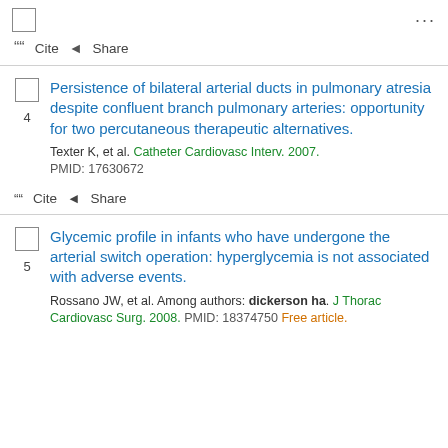☐ ⋯
❝ Cite ◂ Share
Persistence of bilateral arterial ducts in pulmonary atresia despite confluent branch pulmonary arteries: opportunity for two percutaneous therapeutic alternatives.
Texter K, et al. Catheter Cardiovasc Interv. 2007. PMID: 17630672
❝ Cite ◂ Share
Glycemic profile in infants who have undergone the arterial switch operation: hyperglycemia is not associated with adverse events.
Rossano JW, et al. Among authors: dickerson ha. J Thorac Cardiovasc Surg. 2008. PMID: 18374750 Free article.